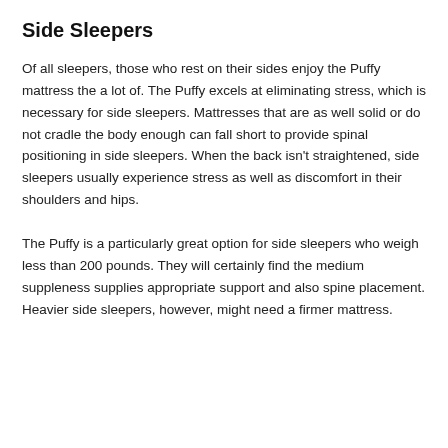Side Sleepers
Of all sleepers, those who rest on their sides enjoy the Puffy mattress the a lot of. The Puffy excels at eliminating stress, which is necessary for side sleepers. Mattresses that are as well solid or do not cradle the body enough can fall short to provide spinal positioning in side sleepers. When the back isn't straightened, side sleepers usually experience stress as well as discomfort in their shoulders and hips.
The Puffy is a particularly great option for side sleepers who weigh less than 200 pounds. They will certainly find the medium suppleness supplies appropriate support and also spine placement. Heavier side sleepers, however, might need a firmer mattress.